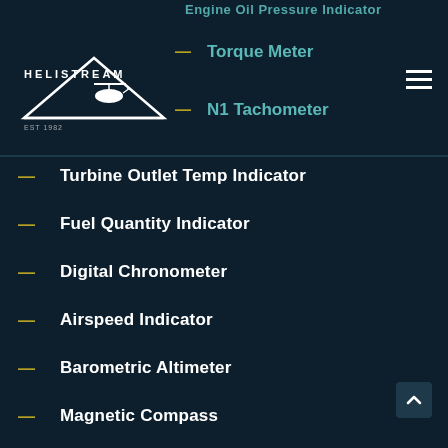Engine Oil Pressure Indicator
[Figure (logo): Helistream logo with helicopter icon, EST 1982]
Torque Meter
N1 Tachometer
Turbine Outlet Temp Indicator
Fuel Quantity Indicator
Digital Chronometer
Airspeed Indicator
Barometric Altimeter
Magnetic Compass
Outside Air Temp Indicator
Rapid Door Removal Kit (Cockpit and Cabin)
Removable Seat Pans
Courtesy Handles
Engine Oil Cooler Inspection Panel
Part Cargo Mirror